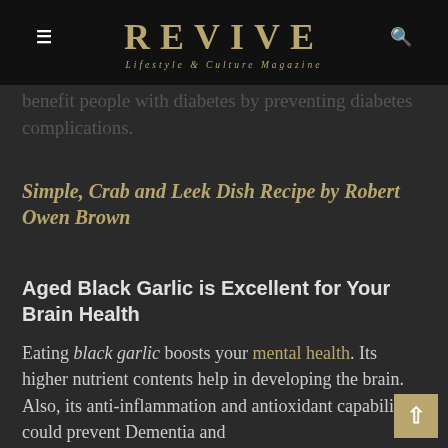REVIVE — Lifestyle & Culture Magazine
benefit people with diabetes by preventing diabetes complications.
Simple, Crab and Leek Dish Recipe by Robert Owen Brown
Aged Black Garlic is Excellent for Your Brain Health
Eating black garlic boosts your mental health. Its higher nutrient contents help in developing the brain. Also, its anti-inflammation and antioxidant capabilities could prevent Dementia and